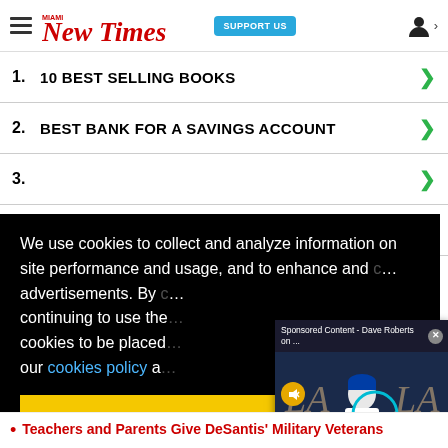Miami New Times — SUPPORT US
1. 10 BEST SELLING BOOKS
2. BEST BANK FOR A SAVINGS ACCOUNT
We use cookies to collect and analyze information on site performance and usage, and to enhance and customize content and advertisements. By continuing to use the site, you agree to allow cookies to be placed. To find out more, visit our cookies policy and
[Figure (screenshot): Sponsored Content video popup - Dave Roberts on ... with a Dodgers press conference video thumbnail and mute button, with X close button]
Got it!
Teachers and Parents Give DeSantis' Military Veterans